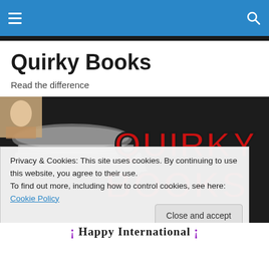Navigation bar with hamburger menu and search icon
Quirky Books
Read the difference
[Figure (photo): Hero banner image showing stacked books in black and white with 'QUIRKY BOOKS' text in large red bold letters on the right side. A small portrait photo of a blonde woman is visible in the upper left corner.]
Privacy & Cookies: This site uses cookies. By continuing to use this website, you agree to their use.
To find out more, including how to control cookies, see here: Cookie Policy
Close and accept
¡ Happy International !